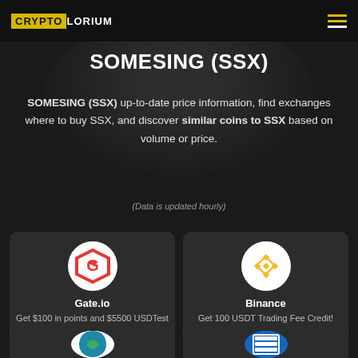CRYPTOLORIUM
SOMESING (SSX)
SOMESING (SSX) up-to-date price information, find exchanges where to buy SSX, and discover similar coins to SSX based on volume or price.
(Data is updated hourly)
Gate.io
Get $100 in points and $5500 USDTest after your first trade!
Available now
Binance
Get 100 USDT Trading Fee Credit!
Available now